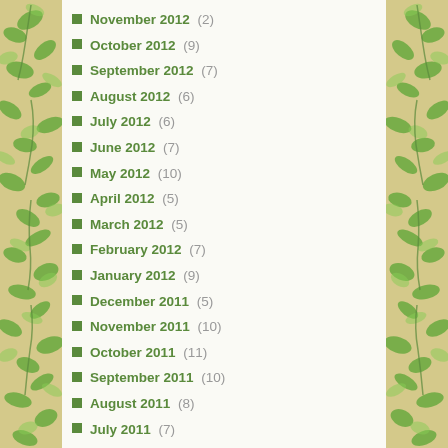November 2012 (2)
October 2012 (9)
September 2012 (7)
August 2012 (6)
July 2012 (6)
June 2012 (7)
May 2012 (10)
April 2012 (5)
March 2012 (5)
February 2012 (7)
January 2012 (9)
December 2011 (5)
November 2011 (10)
October 2011 (11)
September 2011 (10)
August 2011 (8)
July 2011 (7)
June 2011 (4)
May 2011 (10)
April 2011 (6)
March 2011 (8)